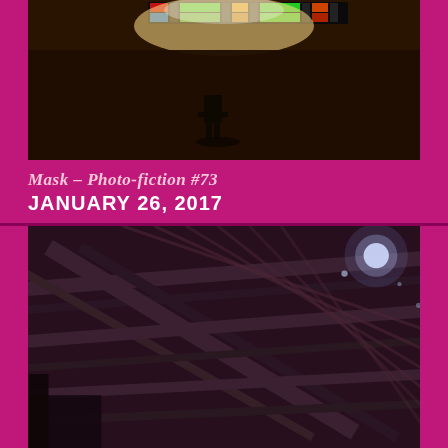[Figure (photo): Dark nighttime photo showing a bright illuminated scoreboard or display panel at the top with colorful text/graphics, with a dark background and a small figure or object silhouetted below the light source]
Mask – Photo-fiction #73
JANUARY 26, 2017
[Figure (photo): Dark nighttime photo looking up at structural beams, rafters or scaffolding of a building interior or covered structure, with a bright light (possibly moon or lamp) visible in the upper right area]